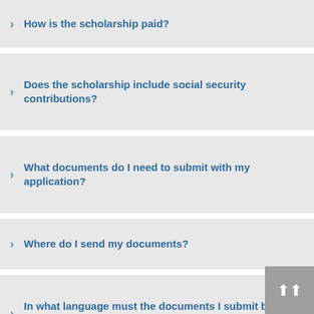How is the scholarship paid?
Does the scholarship include social security contributions?
What documents do I need to submit with my application?
Where do I send my documents?
In what language must the documents I submit be written?
I'm starting my master's degree studies next...